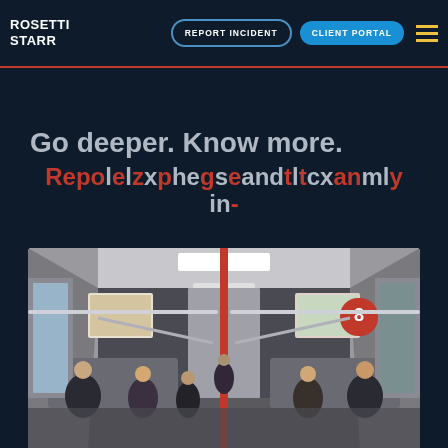ROSETTI STARR | REPORT INCIDENT | CLIENT PORTAL
Go deeper. Know more. Repolelzxphegseandtltcxanmly in-
[Figure (photo): Interior of a subway/metro train car with passengers seated and standing, red poles visible, advertisements on walls, perspective view down the aisle with ceiling lights]